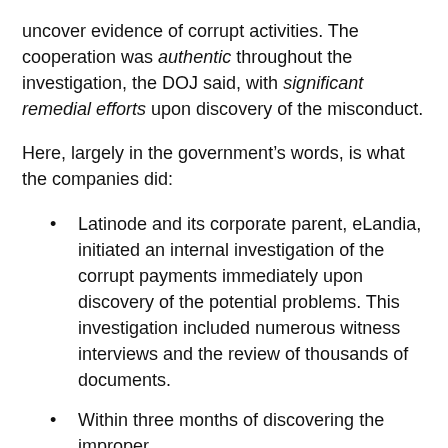uncover evidence of corrupt activities. The cooperation was authentic throughout the investigation, the DOJ said, with significant remedial efforts upon discovery of the misconduct.
Here, largely in the government's words, is what the companies did:
Latinode and its corporate parent, eLandia, initiated an internal investigation of the corrupt payments immediately upon discovery of the potential problems. This investigation included numerous witness interviews and the review of thousands of documents.
Within three months of discovering the improper